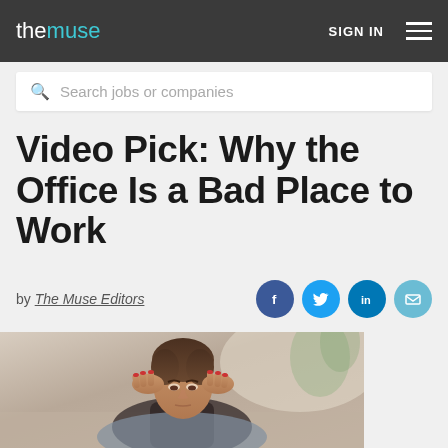the muse | SIGN IN
Search jobs or companies
Video Pick: Why the Office Is a Bad Place to Work
by The Muse Editors
[Figure (photo): A stressed woman with dark hair, hands pressed to her temples, sitting at a desk in an office setting.]